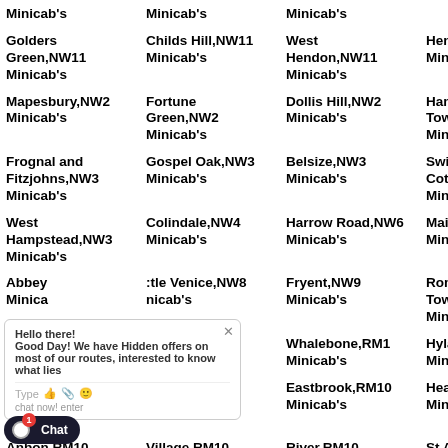Minicab's
Minicab's
Minicab's
Golders Green,NW11 Minicab's
Childs Hill,NW11 Minicab's
West Hendon,NW11 Minicab's
Hendon,NW11 Minicab's
Mapesbury,NW2 Minicab's
Fortune Green,NW2 Minicab's
Dollis Hill,NW2 Minicab's
Hampstead Town,NW3 Minicab's
Frognal and Fitzjohns,NW3 Minicab's
Gospel Oak,NW3 Minicab's
Belsize,NW3 Minicab's
Swiss Cottage,NW3 Minicab's
West Hampstead,NW3 Minicab's
Colindale,NW4 Minicab's
Harrow Road,NW6 Minicab's
Maida Vale,NW Minicab's
Abbey Minica
ttle Venice,NW8 nicab's
Fryent,NW9 Minicab's
Romford Town,RM1 Minicab's
Brook Minica
ttits,RM1 nicab's
Whalebone,RM1 Minicab's
Hylands,RM1 Minicab's
Haveri Park,R...
owneys,RM1 Minicab's
Eastbrook,RM10 Minicab's
Heath,RM10 Minicab's
Anbon,RM10
Village,RM10
River,RM10
St Andrews,RM1